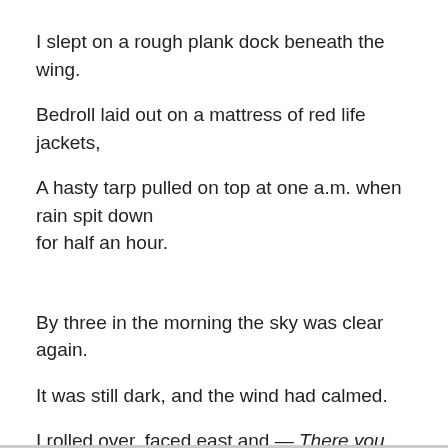I slept on a rough plank dock beneath the wing.
Bedroll laid out on a mattress of red life jackets,
A hasty tarp pulled on top at one a.m. when rain spit down for half an hour.
By three in the morning the sky was clear again.
It was still dark, and the wind had calmed.
I rolled over, faced east and — There you were!
For the first time since late March your three-star belt, your scabbard and shield.